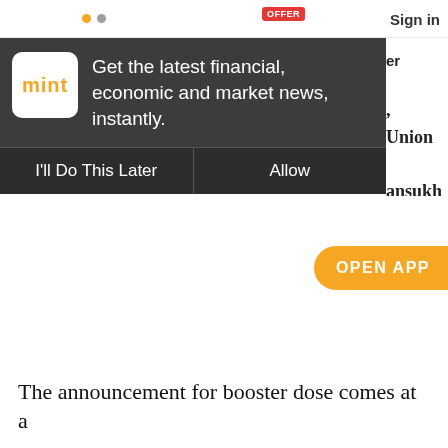Sign in
[Figure (screenshot): Mint app notification popup overlay on a dark gray background. Shows the Mint logo (orange text on white square), message 'Get the latest financial, economic and market news, instantly.' with two buttons: 'I'll Do This Later' and 'Allow'.]
[Figure (screenshot): Orange 'OPEN APP' button pill partially visible on the right side of the screen.]
The announcement for booster dose comes at a